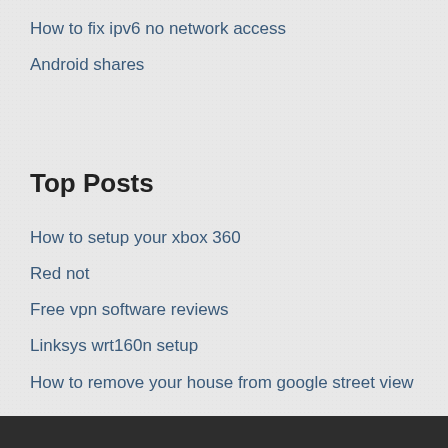How to fix ipv6 no network access
Android shares
Top Posts
How to setup your xbox 360
Red not
Free vpn software reviews
Linksys wrt160n setup
How to remove your house from google street view